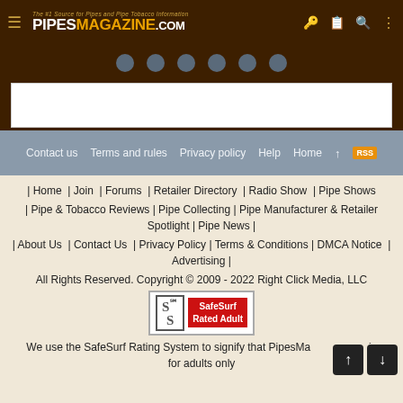PIPES MAGAZINE.COM — The #1 Source for Pipes and Pipe Tobacco Information
[Figure (screenshot): Social media icons strip (Facebook, Twitter, Pinterest, Instagram, YouTube, Email) on dark brown background, with white advertisement box below]
Contact us | Terms and rules | Privacy policy | Help | Home ↑ RSS
| Home | Join | Forums | Retailer Directory | Radio Show | Pipe Shows
| Pipe & Tobacco Reviews | Pipe Collecting | Pipe Manufacturer & Retailer Spotlight | Pipe News |
| About Us | Contact Us | Privacy Policy | Terms & Conditions | DMCA Notice | Advertising |
All Rights Reserved. Copyright © 2009 - 2022 Right Click Media, LLC
[Figure (logo): SafeSurf Rated Adult badge — white box with SS logo and red SafeSurf Rated Adult text]
We use the SafeSurf Rating System to signify that PipesMagazine.com is for adults only